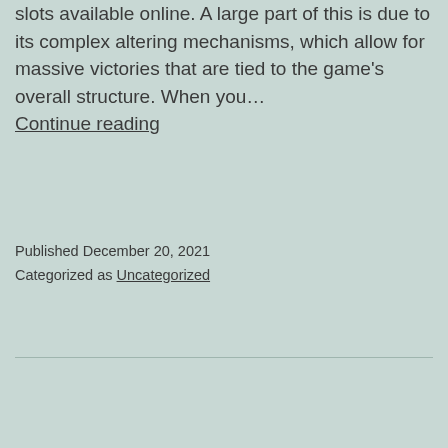slots available online. A large part of this is due to its complex altering mechanisms, which allow for massive victories that are tied to the game's overall structure. When you… Continue reading
Published December 20, 2021
Categorized as Uncategorized